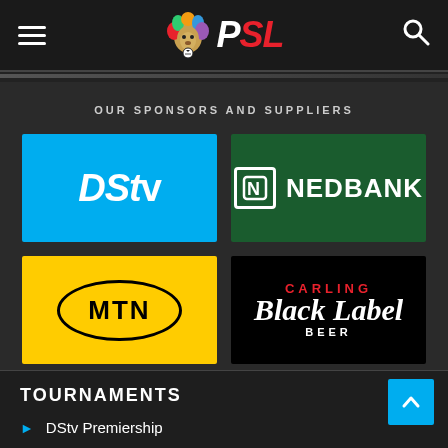PSL — Premier Soccer League
OUR SPONSORS AND SUPPLIERS
[Figure (logo): DStv logo — white italic bold text on blue background]
[Figure (logo): Nedbank logo — N icon and NEDBANK text on dark green background]
[Figure (logo): MTN logo — MTN in black oval on yellow background]
[Figure (logo): Carling Black Label Beer logo on black background]
TOURNAMENTS
DStv Premiership